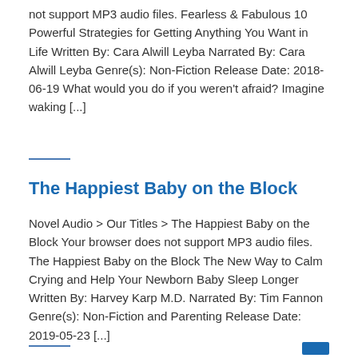not support MP3 audio files. Fearless & Fabulous 10 Powerful Strategies for Getting Anything You Want in Life Written By: Cara Alwill Leyba Narrated By: Cara Alwill Leyba Genre(s): Non-Fiction Release Date: 2018-06-19 What would you do if you weren't afraid? Imagine waking [...]
The Happiest Baby on the Block
Novel Audio > Our Titles > The Happiest Baby on the Block Your browser does not support MP3 audio files. The Happiest Baby on the Block The New Way to Calm Crying and Help Your Newborn Baby Sleep Longer Written By: Harvey Karp M.D. Narrated By: Tim Fannon Genre(s): Non-Fiction and Parenting Release Date: 2019-05-23 [...]